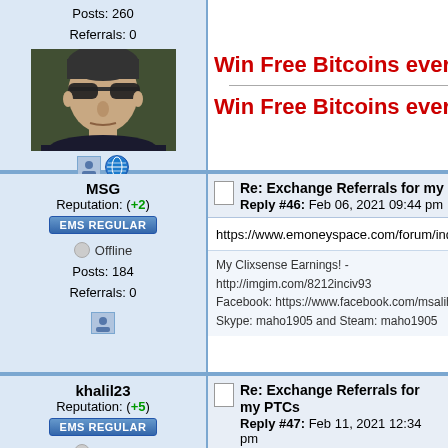Posts: 260
Referrals: 0
[Figure (photo): Profile photo of user - man wearing sunglasses]
[Figure (other): User icons: profile and globe]
[Figure (other): Advertisement: Win Free Bitcoins every hour (repeated twice, red bold text)]
MSG
Reputation: (+2)
EMS REGULAR
Offline
Posts: 184
Referrals: 0
Re: Exchange Referrals for my PTCs
Reply #46: Feb 06, 2021 09:44 pm
https://www.emoneyspace.com/forum/index.php/to
My Clixsense Earnings! - http://imgim.com/8212inciv93
Facebook: https://www.facebook.com/msalih.gunduz
Skype: maho1905 and Steam: maho1905
khalil23
Reputation: (+5)
EMS REGULAR
Offline
Posts: 218
Referrals: 0
Re: Exchange Referrals for my PTCs
Reply #47: Feb 11, 2021 12:34 pm
ok for freebitco referral exchange

my link ;: https://freebitco.in/?r=41244860

i'm new at ptc sites so i can choose anyone !